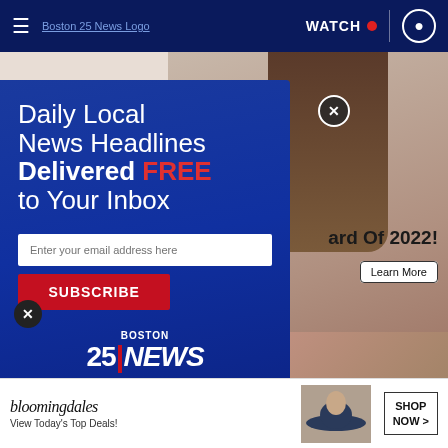Boston 25 News — Navigation bar with hamburger menu, logo, WATCH button, and user icon
[Figure (screenshot): Partially visible background showing a woman's back/shoulder with brown hair, on a light beige background. Partial text 'ard Of 2022!' and a 'Learn More' button visible.]
[Figure (screenshot): Modal popup with dark blue gradient background. Headline reads 'Daily Local News Headlines Delivered FREE to Your Inbox' with an email input field, SUBSCRIBE button, and Boston 25 News logo.]
Daily Local News Headlines Delivered FREE to Your Inbox
Enter your email address here
SUBSCRIBE
BOSTON 25 NEWS
[Figure (screenshot): Bottom section showing a partial image of hands/body. A black circular X close button is visible on the left.]
[Figure (advertisement): Bloomingdales banner ad at bottom: 'bloomingdales / View Today's Top Deals!' with a woman in a large hat, and a 'SHOP NOW >' button.]